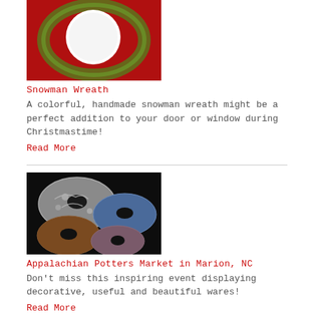[Figure (photo): Colorful handmade snowman wreath with red background, green accents, and white snowman face]
Snowman Wreath
A colorful, handmade snowman wreath might be a perfect addition to your door or window during Christmastime!
Read More
[Figure (photo): Several decorative pottery pieces with holes in the center, displayed on a dark background, in various earth tones]
Appalachian Potters Market in Marion, NC
Don't miss this inspiring event displaying decorative, useful and beautiful wares!
Read More
[Figure (photo): Partial view of a green plant or wreath at bottom of page]